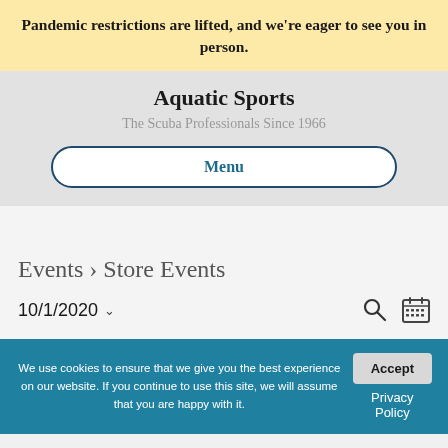Pandemic restrictions are lifted, and we're eager to see you in person.
Aquatic Sports
The Scuba Professionals Since 1966
Menu
Events › Store Events
10/1/2020
We use cookies to ensure that we give you the best experience on our website. If you continue to use this site, we will assume that you are happy with it.
Accept
Privacy Policy